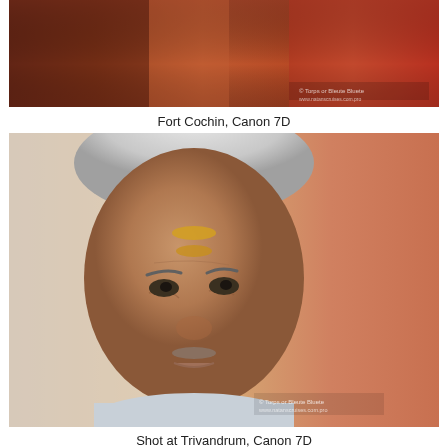[Figure (photo): Close-up photo of colorfully dressed figures at Fort Cochin, cropped to show upper portion, vibrant reds and oranges.]
Fort Cochin, Canon 7D
[Figure (photo): Portrait of an elderly South Asian man with white hair and a gold tilak on his forehead, against an orange background. Shot at Trivandrum, Canon 7D.]
Shot at Trivandrum, Canon 7D
[Figure (photo): Top of a woman's head with reddish-brown hair against a dark background, cropped at bottom of page.]